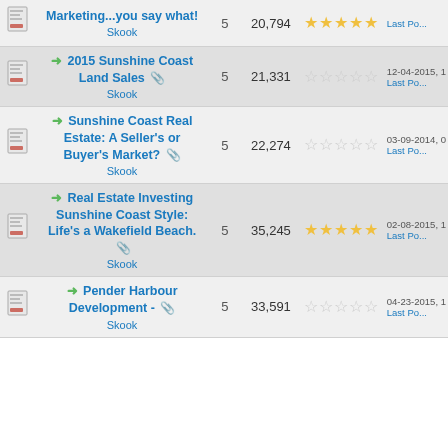|  | Thread Title / Author | Replies | Views | Rating | Last Post |
| --- | --- | --- | --- | --- | --- |
| [icon] | Marketing...you say what!
Skook | 5 | 20,794 | ★★★★★ | Last Post |
| [icon] | → 2015 Sunshine Coast Land Sales 🖇
Skook | 5 | 21,331 | ☆☆☆☆☆ | 12-04-2015, 1
Last Post |
| [icon] | → Sunshine Coast Real Estate: A Seller's or Buyer's Market? 🖇
Skook | 5 | 22,274 | ☆☆☆☆☆ | 03-09-2014, 0
Last Post |
| [icon] | → Real Estate Investing Sunshine Coast Style: Life's a Wakefield Beach. 🖇
Skook | 5 | 35,245 | ★★★★★ | 02-08-2015, 1
Last Post |
| [icon] | → Pender Harbour Development - 🖇
Skook | 5 | 33,591 | ☆☆☆☆☆ | 04-23-2015, 1
Last Post |